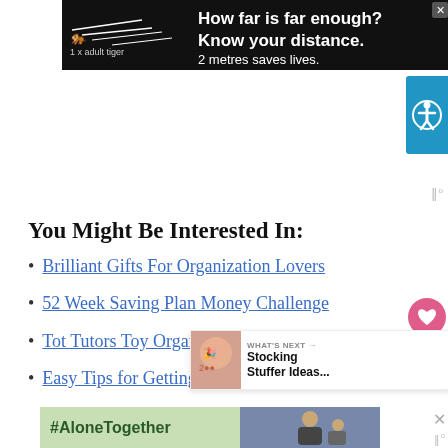[Figure (screenshot): Black banner advertisement: tiger graphic on left with '1 x adult tiger', text reading 'How far is far enough? Know your distance. 2 metres saves lives.']
[Figure (other): Blue accessibility button with wheelchair icon on right side]
You Might Be Interested In:
Brilliant Gifts For Organization Lovers
52 Week Saving Plan Money Challenge
Tot Tutors Toy Organizer Storage
Easy Tips for Getting Organized
[Figure (other): What's Next panel showing 'Stocking Stuffer Ideas...' with decorative image]
[Figure (other): Bottom ad banner with green background showing '#AloneTogether' text and photo of a man and child waving]